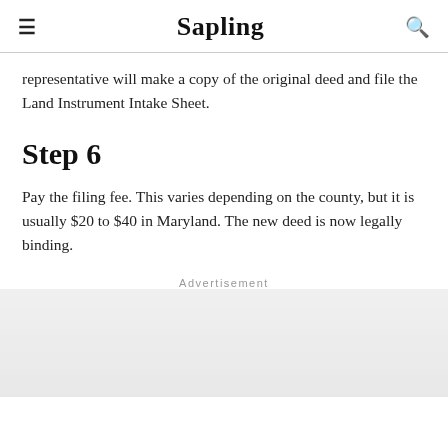Sapling
representative will make a copy of the original deed and file the Land Instrument Intake Sheet.
Step 6
Pay the filing fee. This varies depending on the county, but it is usually $20 to $40 in Maryland. The new deed is now legally binding.
Advertisement